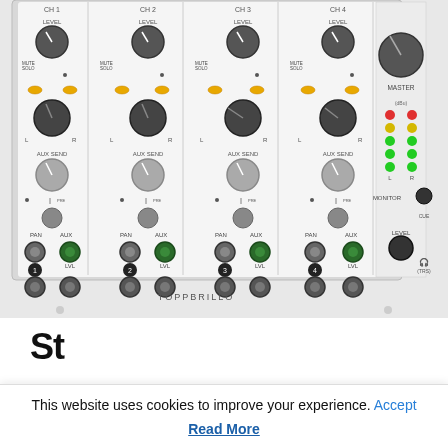[Figure (photo): Photo of a TOPPBRILLO 4-channel analog audio mixer hardware with knobs, faders, LED meters, PAN controls, AUX SEND controls, jack inputs, and a MASTER section with VU meter LEDs on the right side.]
St...
This website uses cookies to improve your experience. Accept
Read More